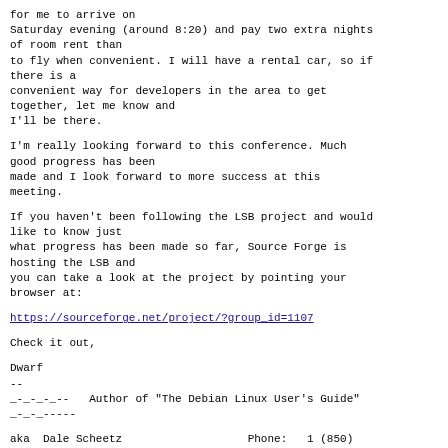for me to arrive on
Saturday evening (around 8:20) and pay two extra nights of room rent than
to fly when convenient. I will have a rental car, so if there is a
convenient way for developers in the area to get together, let me know and
I'll be there.
I'm really looking forward to this conference. Much good progress has been
made and I look forward to more success at this meeting.
If you haven't been following the LSB project and would like to know just
what progress has been made so far, Source Forge is hosting the LSB and
you can take a look at the project by pointing your browser at:
https://sourceforge.net/project/?group_id=1107
Check it out,
Dwarf
--
_-_-_-_--   Author of "The Debian Linux User's Guide"
_-_-_-----
aka  Dale Scheetz                   Phone:   1 (850)